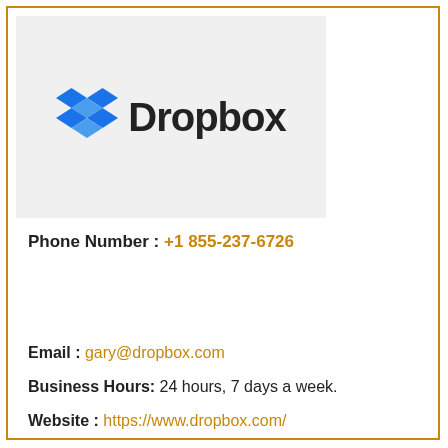[Figure (logo): Dropbox logo with blue diamond grid icon and bold black 'Dropbox' text on a light gray background]
Phone Number : +1 855-237-6726
Email : gary@dropbox.com
Business Hours: 24 hours, 7 days a week.
Website : https://www.dropbox.com/